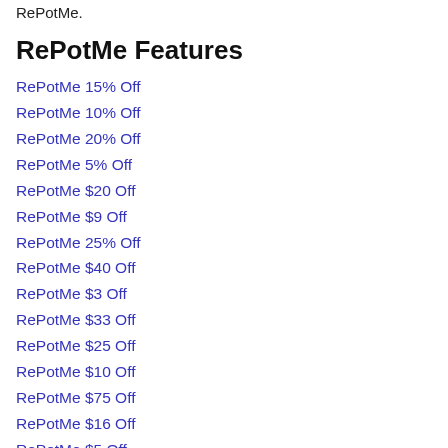RePotMe.
RePotMe Features
RePotMe 15% Off
RePotMe 10% Off
RePotMe 20% Off
RePotMe 5% Off
RePotMe $20 Off
RePotMe $9 Off
RePotMe 25% Off
RePotMe $40 Off
RePotMe $3 Off
RePotMe $33 Off
RePotMe $25 Off
RePotMe $10 Off
RePotMe $75 Off
RePotMe $16 Off
RePotMe $5 Off
RePotMe $4 Off